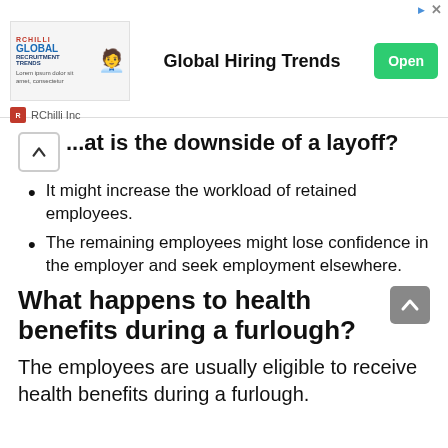[Figure (screenshot): Advertisement banner for RChilli Inc - Global Hiring Trends with Open button]
What is the downside of a layoff?
It might increase the workload of retained employees.
The remaining employees might lose confidence in the employer and seek employment elsewhere.
What happens to health benefits during a furlough?
The employees are usually eligible to receive health benefits during a furlough.